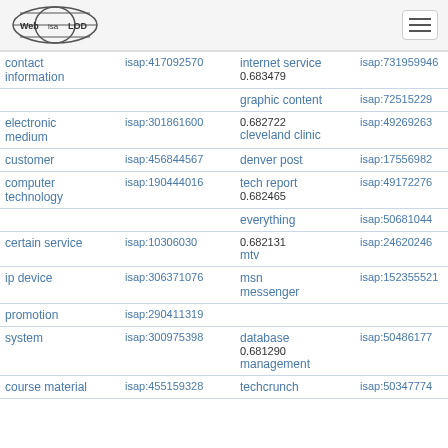Web isa LOD
| concept | isap id | related concept | isap id |
| --- | --- | --- | --- |
| contact information | isap:417092570 | internet service
0.683479 | isap:731959460 |
|  |  | graphic content | isap:72515229 |
| electronic medium | isap:301861600 | 0.682722
cleveland clinic | isap:49269263 |
| customer | isap:456844567 | denver post | isap:17556982 |
| computer technology | isap:190444016 | tech report
0.682465 | isap:49172276 |
|  |  | everything | isap:50681044 |
| certain service | isap:10306030 | 0.682131
mtv | isap:24620246 |
| ip device | isap:306371076 | msn messenger | isap:152355521 |
| promotion | isap:290411319 |  |  |
| system | isap:300975398 | database
0.681290
management | isap:50486177 |
| course material | isap:455159328 | techcrunch | isap:50347774 |